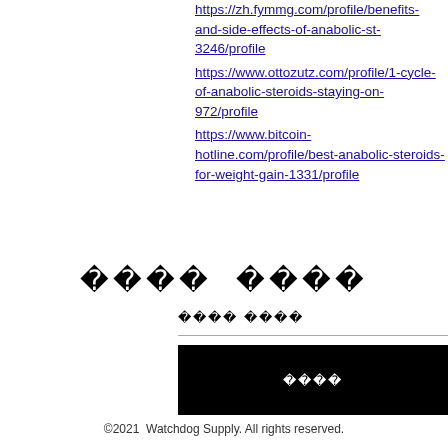https://zh.fymmg.com/profile/benefits-and-side-effects-of-anabolic-st-3246/profile
https://www.ottozutz.com/profile/1-cycle-of-anabolic-steroids-staying-on-972/profile
https://www.bitcoin-hotline.com/profile/best-anabolic-steroids-for-weight-gain-1331/profile
�� ��
��� ��
��
©2021  Watchdog Supply. All rights reserved.